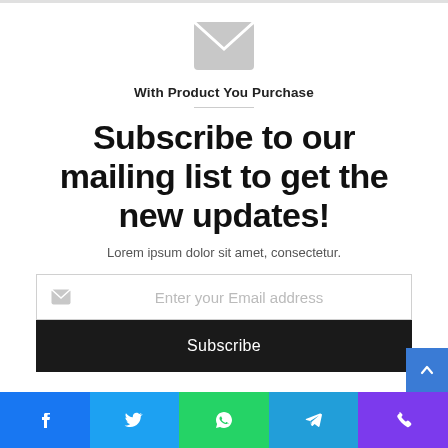[Figure (illustration): Gray envelope/mail icon centered at top]
With Product You Purchase
Subscribe to our mailing list to get the new updates!
Lorem ipsum dolor sit amet, consectetur.
[Figure (screenshot): Email input field with small mail icon and placeholder text 'Enter your Email address']
Subscribe
[Figure (infographic): Bottom social share bar with Facebook, Twitter, WhatsApp, Telegram, and phone icons]